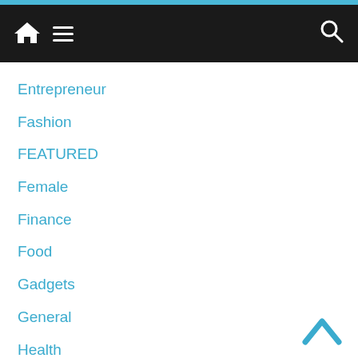Navigation bar with home, menu, and search icons
Entrepreneur
Fashion
FEATURED
Female
Finance
Food
Gadgets
General
Health
Home Improvement
Job
Latest
Law